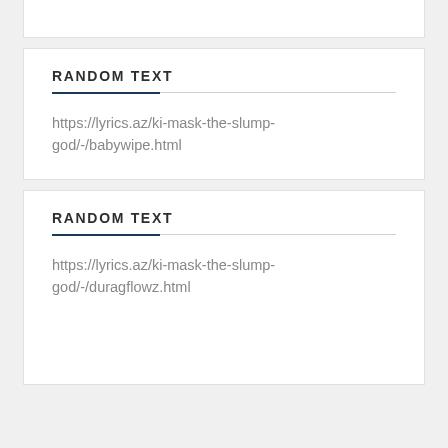RANDOM TEXT
https://lyrics.az/ki-mask-the-slump-god/-/babywipe.html
RANDOM TEXT
https://lyrics.az/ki-mask-the-slump-god/-/duragflowz.html